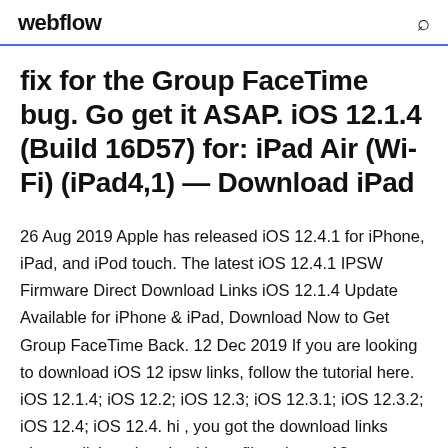webflow
fix for the Group FaceTime bug. Go get it ASAP. iOS 12.1.4 (Build 16D57) for: iPad Air (Wi-Fi) (iPad4,1) — Download iPad
26 Aug 2019 Apple has released iOS 12.4.1 for iPhone, iPad, and iPod touch. The latest iOS 12.4.1 IPSW Firmware Direct Download Links iOS 12.1.4 Update Available for iPhone & iPad, Download Now to Get Group FaceTime Back. 12 Dec 2019 If you are looking to download iOS 12 ipsw links, follow the tutorial here. iOS 12.1.4; iOS 12.2; iOS 12.3; iOS 12.3.1; iOS 12.3.2; iOS 12.4; iOS 12.4. hi , you got the download links above. click to download ipsw files above. 18